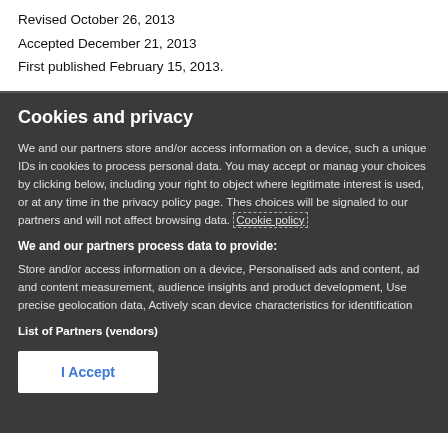Revised October 26, 2013
Accepted December 21, 2013
First published February 15, 2013.
Cookies and privacy
We and our partners store and/or access information on a device, such as unique IDs in cookies to process personal data. You may accept or manage your choices by clicking below, including your right to object where legitimate interest is used, or at any time in the privacy policy page. These choices will be signaled to our partners and will not affect browsing data. Cookie policy
We and our partners process data to provide:
Store and/or access information on a device, Personalised ads and content, ad and content measurement, audience insights and product development, Use precise geolocation data, Actively scan device characteristics for identification
List of Partners (vendors)
I Accept